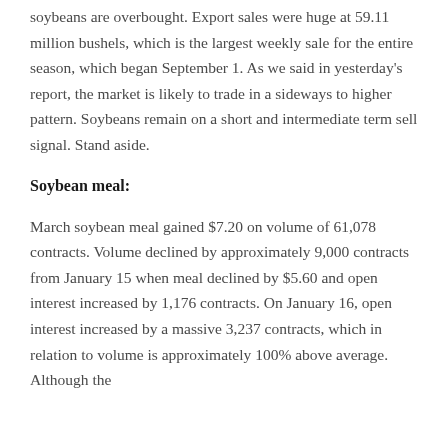soybeans are overbought. Export sales were huge at 59.11 million bushels, which is the largest weekly sale for the entire season, which began September 1. As we said in yesterday's report, the market is likely to trade in a sideways to higher pattern. Soybeans remain on a short and intermediate term sell signal. Stand aside.
Soybean meal:
March soybean meal gained $7.20 on volume of 61,078 contracts. Volume declined by approximately 9,000 contracts from January 15 when meal declined by $5.60 and open interest increased by 1,176 contracts. On January 16, open interest increased by a massive 3,237 contracts, which in relation to volume is approximately 100% above average. Although the